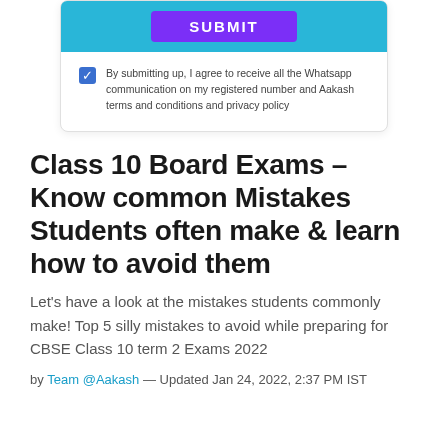[Figure (screenshot): A form card with a blue SUBMIT button area at top and a checked checkbox below with terms and conditions text.]
By submitting up, I agree to receive all the Whatsapp communication on my registered number and Aakash terms and conditions and privacy policy
Class 10 Board Exams – Know common Mistakes Students often make & learn how to avoid them
Let's have a look at the mistakes students commonly make! Top 5 silly mistakes to avoid while preparing for CBSE Class 10 term 2 Exams 2022
by Team @Aakash — Updated Jan 24, 2022, 2:37 PM IST